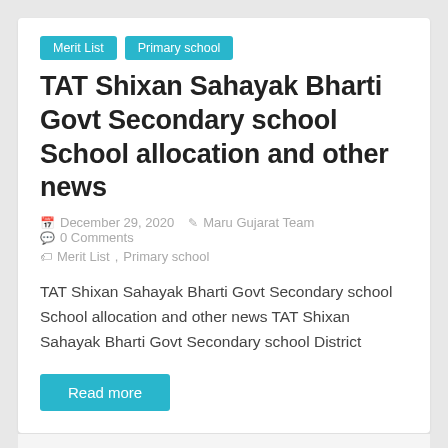Merit List
Primary school
TAT Shixan Sahayak Bharti Govt Secondary school School allocation and other news
December 29, 2020  Maru Gujarat Team  0 Comments
Merit List, Primary school
TAT Shixan Sahayak Bharti Govt Secondary school School allocation and other news TAT Shixan Sahayak Bharti Govt Secondary school District
Read more